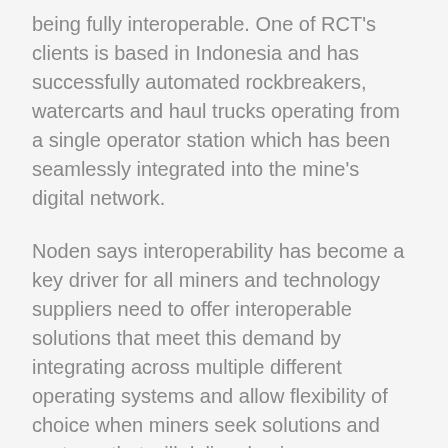being fully interoperable. One of RCT's clients is based in Indonesia and has successfully automated rockbreakers, watercarts and haul trucks operating from a single operator station which has been seamlessly integrated into the mine's digital network.
Noden says interoperability has become a key driver for all miners and technology suppliers need to offer interoperable solutions that meet this demand by integrating across multiple different operating systems and allow flexibility of choice when miners seek solutions and systems that will deliver business improvements. He says mining companies do not want to be constrained by a single OEM system or ecosystem as they look to add technology to their operation.